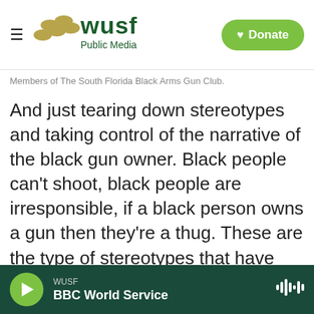WUSF Public Media — Donate
Members of The South Florida Black Arms Gun Club.
And just tearing down stereotypes and taking control of the narrative of the black gun owner. Black people can't shoot, black people are irresponsible, if a black person owns a gun then they're a thug. These are the type of stereotypes that have been very detrimental to people within our community for far too long and it's something that needs to be addressed.

We touch on different points like the basic
WUSF — BBC World Service